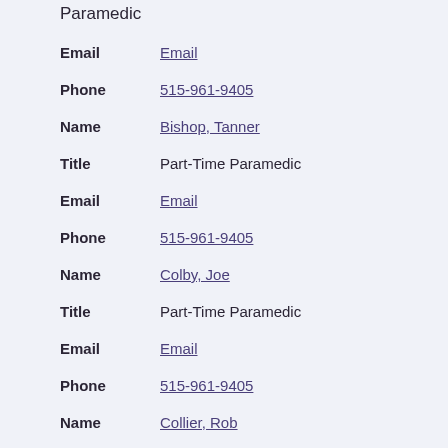Paramedic
Email: Email
Phone: 515-961-9405
Name: Bishop, Tanner
Title: Part-Time Paramedic
Email: Email
Phone: 515-961-9405
Name: Colby, Joe
Title: Part-Time Paramedic
Email: Email
Phone: 515-961-9405
Name: Collier, Rob